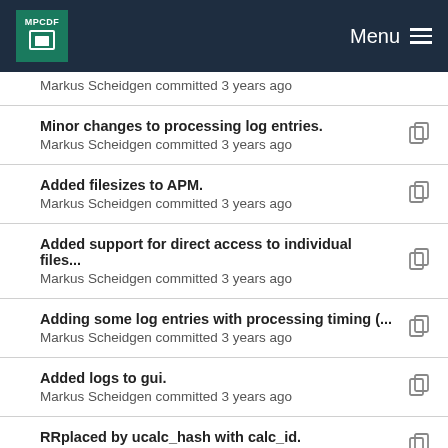MPCDF Menu
Markus Scheidgen committed 3 years ago
Minor changes to processing log entries.
Markus Scheidgen committed 3 years ago
Added filesizes to APM.
Markus Scheidgen committed 3 years ago
Added support for direct access to individual files...
Markus Scheidgen committed 3 years ago
Adding some log entries with processing timing (...
Markus Scheidgen committed 3 years ago
Added logs to gui.
Markus Scheidgen committed 3 years ago
RRplaced by ucalc_hash with calc_id.
Markus Scheidgen committed 3 years ago
Added filesizes to APM.